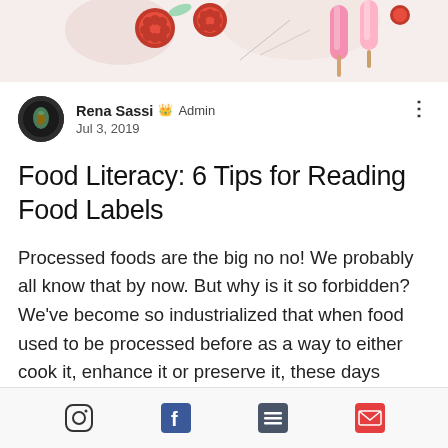[Figure (photo): Hero image showing raspberries and a pink popsicle on a white marble surface]
Rena Sassi 👑 Admin
Jul 3, 2019
Food Literacy: 6 Tips for Reading Food Labels
Processed foods are the big no no! We probably all know that by now. But why is it so forbidden? We've become so industrialized that when food used to be processed before as a way to either cook it, enhance it or preserve it, these days processed food usually has no actual food in it. Most of the time, processed foods are a jumble of unpronounceable chemicals. As a health and nutrition
Instagram | Facebook | List | Email icons